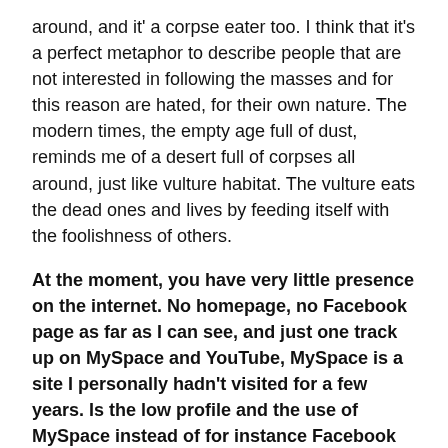around, and it' a corpse eater too. I think that it's a perfect metaphor to describe people that are not interested in following the masses and for this reason are hated, for their own nature. The modern times, the empty age full of dust, reminds me of a desert full of corpses all around, just like vulture habitat. The vulture eats the dead ones and lives by feeding itself with the foolishness of others.
At the moment, you have very little presence on the internet. No homepage, no Facebook page as far as I can see, and just one track up on MySpace and YouTube, MySpace is a site I personally hadn't visited for a few years. Is the low profile and the use of MySpace instead of for instance Facebook something you do on purpose?
TT: – Facebook is for sure a great medium for advertising